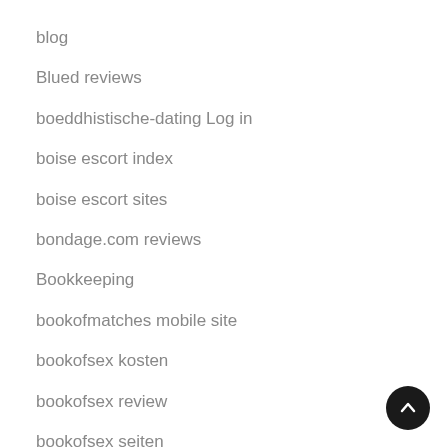blog
Blued reviews
boeddhistische-dating Log in
boise escort index
boise escort sites
bondage.com reviews
Bookkeeping
bookofmatches mobile site
bookofsex kosten
bookofsex review
bookofsex seiten
bosnian-chat-rooms reviews
bosnian-dating mobile site
[Figure (other): Scroll-to-top button: dark circle with upward arrow]